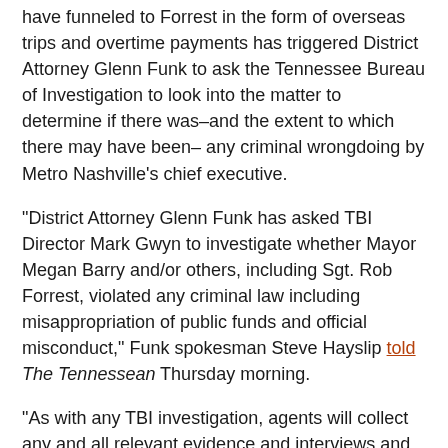have funneled to Forrest in the form of overseas trips and overtime payments has triggered District Attorney Glenn Funk to ask the Tennessee Bureau of Investigation to look into the matter to determine if there was–and the extent to which there may have been– any criminal wrongdoing by Metro Nashville's chief executive.
"District Attorney Glenn Funk has asked TBI Director Mark Gwyn to investigate whether Mayor Megan Barry and/or others, including Sgt. Rob Forrest, violated any criminal law including misappropriation of public funds and official misconduct," Funk spokesman Steve Hayslip told The Tennessean Thursday morning.
"As with any TBI investigation, agents will collect any and all relevant evidence and interviews and, in turn, submit investigative findings to the district attorney general for his further review and consideration," TBI spokesman Josh DeVine confirmed to The Tennessean.